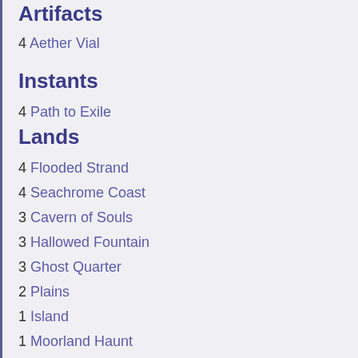Artifacts
4 Aether Vial
Instants
4 Path to Exile
Lands
4 Flooded Strand
4 Seachrome Coast
3 Cavern of Souls
3 Hallowed Fountain
3 Ghost Quarter
2 Plains
1 Island
1 Moorland Haunt